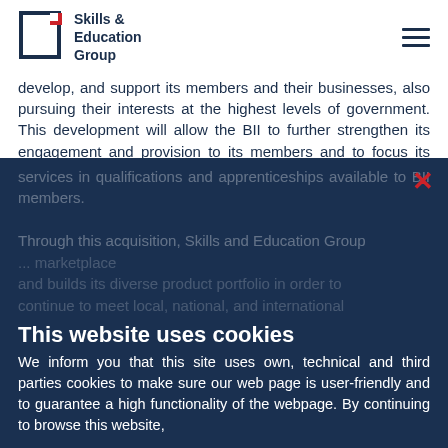Skills & Education Group
develop, and support its members and their businesses, also pursuing their interests at the highest levels of government. This development will allow the BII to further strengthen its engagement and provision to its members and to focus its resources on its wide range of membership services. BIIAB as part of the Skills and Education Group will retain its services in qualifications and apprenticeships available to BII members.
Through this acquisition, Skills and Education Group ... marketplace and builds its diverse product portfolio in order to continue to meet local, national, and international...
This website uses cookies
We inform you that this site uses own, technical and third parties cookies to make sure our web page is user-friendly and to guarantee a high functionality of the webpage. By continuing to browse this website,